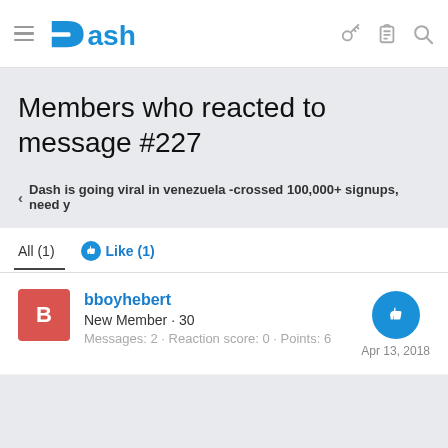Dash — navigation header with hamburger menu, logo, key icon, clipboard icon, search icon
Members who reacted to message #227
‹ Dash is going viral in venezuela -crossed 100,000+ signups, need y
All (1)   Like (1)
bboyhebert
New Member · 30
Messages: 2 · Reaction score: 0 · Points: 6
Apr 13, 2018